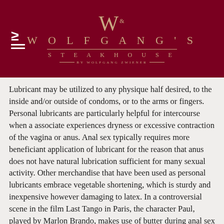[Figure (logo): Wolfgang's Steakhouse logo with decorative W monogram and text on dark red background]
Lubricant may be utilized to any physique half desired, to the inside and/or outside of condoms, or to the arms or fingers. Personal lubricants are particularly helpful for intercourse when a associate experiences dryness or excessive contraction of the vagina or anus. Anal sex typically requires more beneficiant application of lubricant for the reason that anus does not have natural lubrication sufficient for many sexual activity. Other merchandise that have been used as personal lubricants embrace vegetable shortening, which is sturdy and inexpensive however damaging to latex. In a controversial scene in the film Last Tango in Paris, the character Paul, played by Marlon Brando, makes use of butter during anal sex with the character Jeanne, performed by Maria Schneider. They supply a unique feel from water-primarily based private